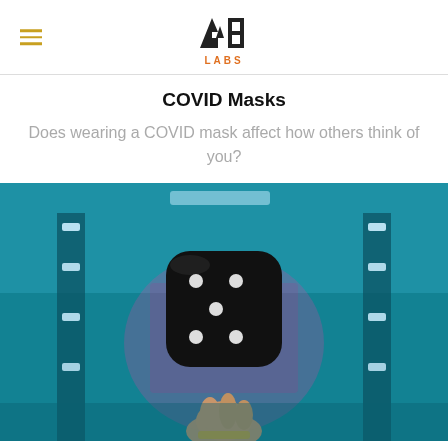AB LABS
COVID Masks
Does wearing a COVID mask affect how others think of you?
[Figure (photo): A hand tossing a black dice in the air against a blurred blue neon-lit background with shelves]